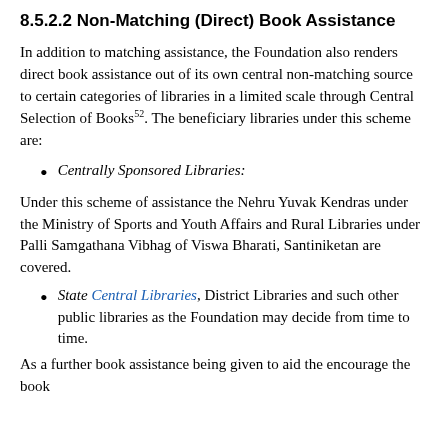8.5.2.2 Non-Matching (Direct) Book Assistance
In addition to matching assistance, the Foundation also renders direct book assistance out of its own central non-matching source to certain categories of libraries in a limited scale through Central Selection of Books⁒. The beneficiary libraries under this scheme are:
Centrally Sponsored Libraries:
Under this scheme of assistance the Nehru Yuvak Kendras under the Ministry of Sports and Youth Affairs and Rural Libraries under Palli Samgathana Vibhag of Viswa Bharati, Santiniketan are covered.
State Central Libraries, District Libraries and such other public libraries as the Foundation may decide from time to time.
As a further book assistance being given to aid the encourage the book